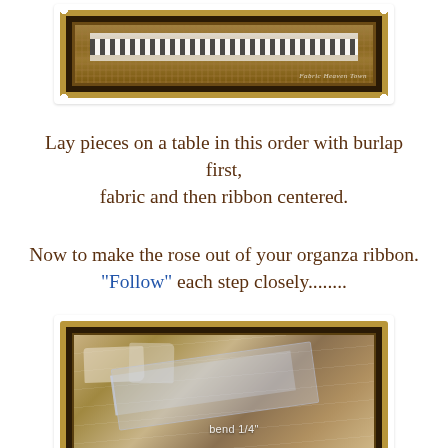[Figure (photo): A decorative stamp-framed photo showing layered fabric pieces: burlap, fabric, and ribbon on a wooden surface with a scalloped border and dark frame. Text 'Fabric Heave Town' visible in lower right.]
Lay pieces on a table in this order with burlap first, fabric and then ribbon centered.
Now to make the rose out of your organza ribbon. "Follow" each step closely........
[Figure (photo): A decorative stamp-framed photo showing a clear/organza ribbon being bent 1/4 inch on a weathered wooden surface. Text 'bend 1/4"' is overlaid on the image.]